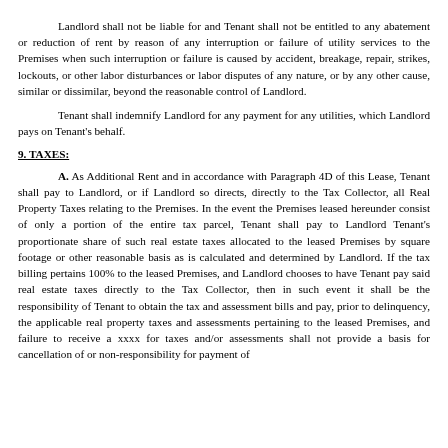Landlord shall not be liable for and Tenant shall not be entitled to any abatement or reduction of rent by reason of any interruption or failure of utility services to the Premises when such interruption or failure is caused by accident, breakage, repair, strikes, lockouts, or other labor disturbances or labor disputes of any nature, or by any other cause, similar or dissimilar, beyond the reasonable control of Landlord.
Tenant shall indemnify Landlord for any payment for any utilities, which Landlord pays on Tenant's behalf.
9. TAXES:
A. As Additional Rent and in accordance with Paragraph 4D of this Lease, Tenant shall pay to Landlord, or if Landlord so directs, directly to the Tax Collector, all Real Property Taxes relating to the Premises. In the event the Premises leased hereunder consist of only a portion of the entire tax parcel, Tenant shall pay to Landlord Tenant's proportionate share of such real estate taxes allocated to the leased Premises by square footage or other reasonable basis as is calculated and determined by Landlord. If the tax billing pertains 100% to the leased Premises, and Landlord chooses to have Tenant pay said real estate taxes directly to the Tax Collector, then in such event it shall be the responsibility of Tenant to obtain the tax and assessment bills and pay, prior to delinquency, the applicable real property taxes and assessments pertaining to the leased Premises, and failure to receive a xxxx for taxes and/or assessments shall not provide a basis for cancellation of or non-responsibility for payment of